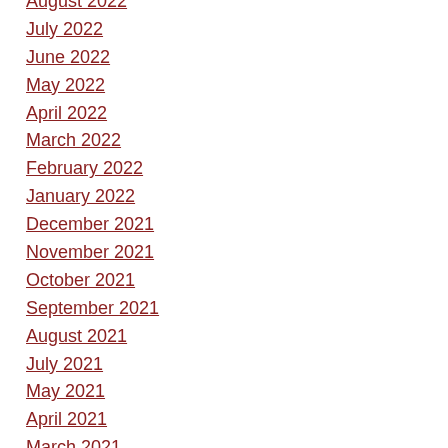August 2022
July 2022
June 2022
May 2022
April 2022
March 2022
February 2022
January 2022
December 2021
November 2021
October 2021
September 2021
August 2021
July 2021
May 2021
April 2021
March 2021
February 2021
January 2021